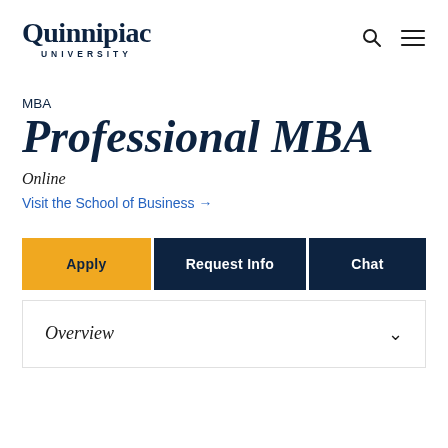[Figure (logo): Quinnipiac University logo with serif wordmark and spaced-letter UNIVERSITY subtitle]
MBA
Professional MBA
Online
Visit the School of Business →
Apply
Request Info
Chat
Overview